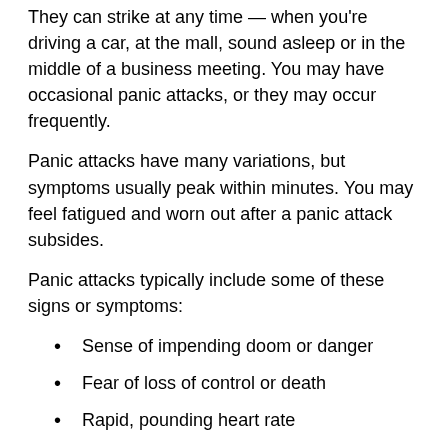They can strike at any time — when you're driving a car, at the mall, sound asleep or in the middle of a business meeting. You may have occasional panic attacks, or they may occur frequently.
Panic attacks have many variations, but symptoms usually peak within minutes. You may feel fatigued and worn out after a panic attack subsides.
Panic attacks typically include some of these signs or symptoms:
Sense of impending doom or danger
Fear of loss of control or death
Rapid, pounding heart rate
Sweating
Trembling or shaking
Shortness of breath or tightness in your throat
Chills